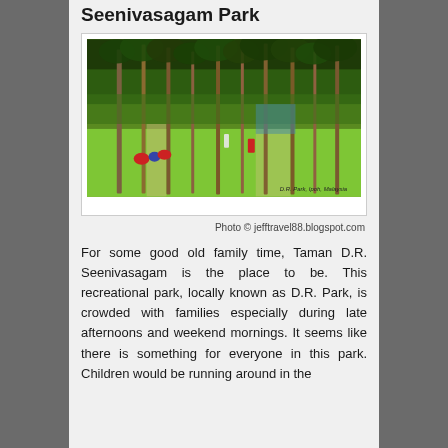Seenivasagam Park
[Figure (photo): Outdoor park with tall palm trees, green grass lawn, people sitting and walking, playground equipment in background. Caption: D.R. Park, Ipoh, Malaysia]
Photo © jefftravel88.blogspot.com
For some good old family time, Taman D.R. Seenivasagam is the place to be. This recreational park, locally known as D.R. Park, is crowded with families especially during late afternoons and weekend mornings. It seems like there is something for everyone in this park. Children would be running around in the